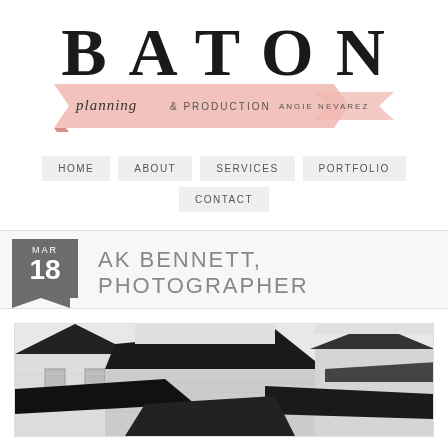[Figure (logo): BATON Planning & Production logo with pink ribbon banner and 'Angie Nevarez' subtitle]
HOME   ABOUT   SERVICES   PORTFOLIO   CONTACT
AK BENNETT, PHOTOGRAPHER
[Figure (photo): Black and white photograph of house rooftops and architectural details]